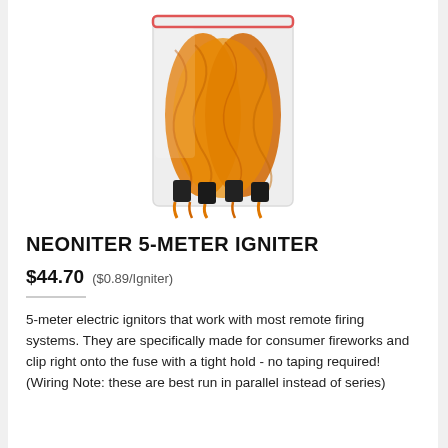[Figure (photo): A clear resealable plastic bag containing bundled orange electric igniters with black tips, multiple bundles visible inside the bag.]
NEONITER 5-METER IGNITER
$44.70  ($0.89/Igniter)
5-meter electric ignitors that work with most remote firing systems. They are specifically made for consumer fireworks and clip right onto the fuse with a tight hold - no taping required!
(Wiring Note: these are best run in parallel instead of series)